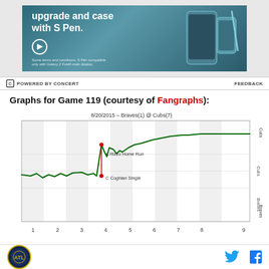[Figure (photo): Advertisement banner - Samsung Galaxy Z Fold with S Pen promotion. Text: 'upgrade and case with S Pen.' with product image on dark teal background.]
POWERED BY CONCERT   FEEDBACK
Graphs for Game 119 (courtesy of Fangraphs):
[Figure (line-chart): Win probability chart showing Cubs win probability over 9 innings. Line starts around 0.5, stays relatively flat through innings 1-3, spikes sharply upward around inning 3.5 due to 'A Rizzo Home Run' and 'C Coghlan Single' annotations, then continues to rise and plateau near 1.0 through innings 5-9. Y-axis labels show 'Cubs' at top and 'Braves' at bottom. X-axis shows innings 1-9.]